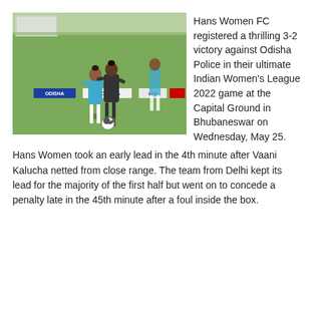[Figure (photo): Two female football players competing for the ball on a grass pitch during Indian Women's League 2022 match. Advertising boards with 'ODISHA' branding visible in background.]
Hans Women FC registered a thrilling 3-2 victory against Odisha Police in their ultimate Indian Women's League 2022 game at the Capital Ground in Bhubaneswar on Wednesday, May 25.
Hans Women took an early lead in the 4th minute after Vaani Kalucha netted from close range. The team from Delhi kept its lead for the majority of the first half but went on to concede a penalty late in the 45th minute after a foul inside the box.